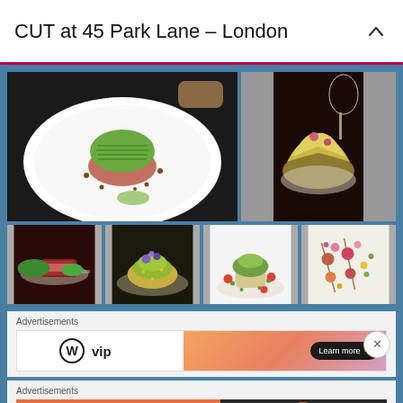CUT at 45 Park Lane – London
[Figure (photo): Elegant restaurant dish: beef tartare topped with sliced avocado on a white plate with sauce dots]
[Figure (photo): Restaurant dish: frisée salad with meat in dark restaurant setting with wine glass]
[Figure (photo): Small restaurant dish: sliced meat with greens on white plate]
[Figure (photo): Small restaurant dish: layered salad with purple flowers]
[Figure (photo): Small restaurant dish: crab or fish tower with microgreens and tomatoes]
[Figure (photo): Small restaurant dish: skewered bites with edible flowers]
Advertisements
[Figure (screenshot): WordPress VIP advertisement banner with Learn more button and orange gradient background]
Advertisements
[Figure (screenshot): DuckDuckGo advertisement: Search, browse, and email with more privacy. All in One Free App]